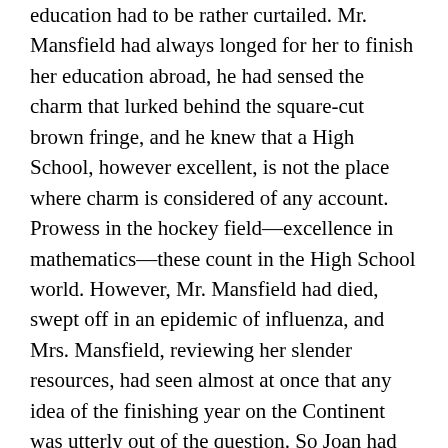education had to be rather curtailed. Mr. Mansfield had always longed for her to finish her education abroad, he had sensed the charm that lurked behind the square-cut brown fringe, and he knew that a High School, however excellent, is not the place where charm is considered of any account. Prowess in the hockey field—excellence in mathematics—these count in the High School world. However, Mr. Mansfield had died, swept off in an epidemic of influenza, and Mrs. Mansfield, reviewing her slender resources, had seen almost at once that any idea of the finishing year on the Continent was utterly out of the question. So Joan had finished her education at the local High School. But Joan had absorbed, without knowing that she did it, her brother Gerald's strictures on the girl friends that she brought to the house, and when she was